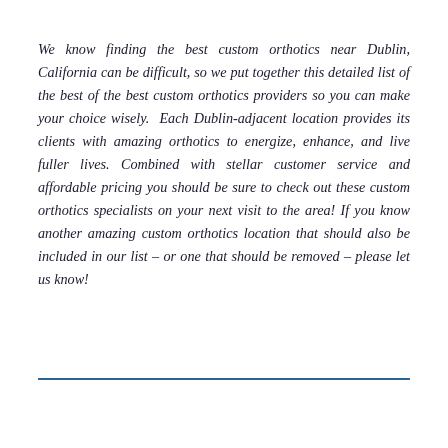We know finding the best custom orthotics near Dublin, California can be difficult, so we put together this detailed list of the best of the best custom orthotics providers so you can make your choice wisely.  Each Dublin-adjacent location provides its clients with amazing orthotics to energize, enhance, and live fuller lives. Combined with stellar customer service and affordable pricing you should be sure to check out these custom orthotics specialists on your next visit to the area! If you know another amazing custom orthotics location that should also be included in our list – or one that should be removed – please let us know!